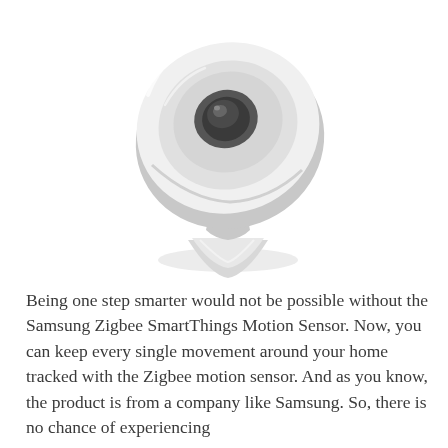[Figure (photo): Samsung Zigbee SmartThings Motion Sensor — a white circular disc-shaped device with a dark motion sensor eye in the center, mounted on a white conical base/stand, photographed at an angle on a white background.]
Being one step smarter would not be possible without the Samsung Zigbee SmartThings Motion Sensor. Now, you can keep every single movement around your home tracked with the Zigbee motion sensor. And as you know, the product is from a company like Samsung. So, there is no chance of experiencing